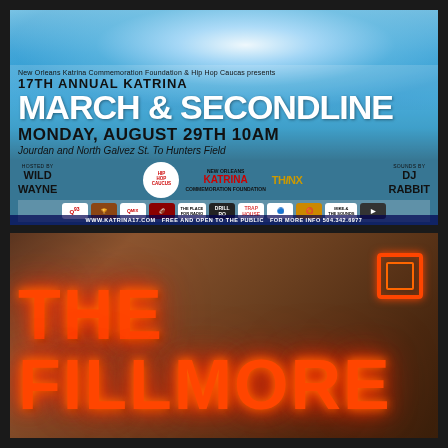[Figure (illustration): Event flyer for the 17th Annual Katrina March & Secondline. Background shows satellite view of a hurricane swirl over blue sky/ocean. Text overlay shows event details. Bottom strip shows sponsor logos. Website and contact info at bottom.]
[Figure (photo): Photo of The Fillmore venue exterior signage showing large red neon letters spelling 'THE FILLMORE' on a brick building facade, with an illuminated rectangular logo icon in the upper right corner.]